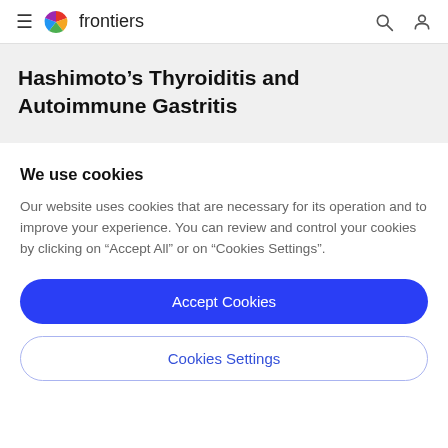≡  frontiers
Hashimoto's Thyroiditis and Autoimmune Gastritis
We use cookies
Our website uses cookies that are necessary for its operation and to improve your experience. You can review and control your cookies by clicking on "Accept All" or on "Cookies Settings".
Accept Cookies
Cookies Settings